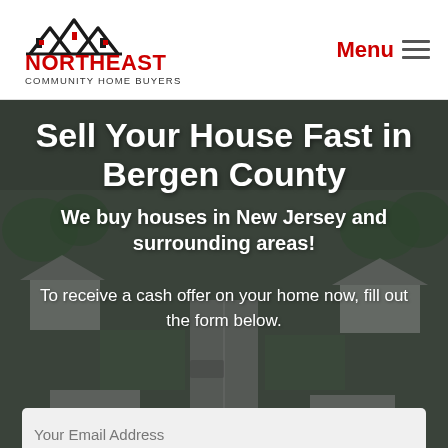[Figure (logo): Northeast Community Home Buyers logo with black rooftop silhouette and red text]
Menu
[Figure (photo): Aerial view of a suburban New Jersey neighborhood with houses, trees, and streets under a cloudy sky, overlaid with dark tint]
Sell Your House Fast in Bergen County
We buy houses in New Jersey and surrounding areas!
To receive a cash offer on your home now, fill out the form below.
Your Email Address